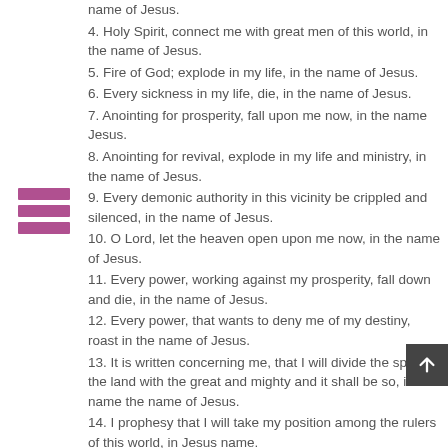name of Jesus. (truncated top)
4. Holy Spirit, connect me with great men of this world, in the name of Jesus.
5. Fire of God; explode in my life, in the name of Jesus.
6. Every sickness in my life, die, in the name of Jesus.
7. Anointing for prosperity, fall upon me now, in the name Jesus.
8. Anointing for revival, explode in my life and ministry, in the name of Jesus.
9. Every demonic authority in this vicinity be crippled and silenced, in the name of Jesus.
10. O Lord, let the heaven open upon me now, in the name of Jesus.
11. Every power, working against my prosperity, fall down and die, in the name of Jesus.
12. Every power, that wants to deny me of my destiny, roast in the name of Jesus.
13. It is written concerning me, that I will divide the spoil of the land with the great and mighty and it shall be so, in the name the name of Jesus.
14. I prophesy that I will take my position among the rulers of this world, in Jesus name.
15. Holy Spirit, you are my passport, I have come to